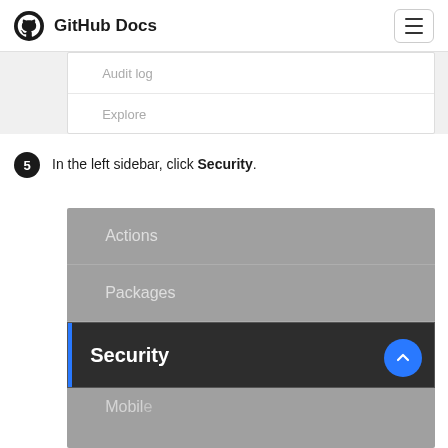GitHub Docs
[Figure (screenshot): Partial screenshot of GitHub settings sidebar showing menu items: Audit log, Explore]
5  In the left sidebar, click Security.
[Figure (screenshot): GitHub settings sidebar screenshot showing menu items: Actions, Packages, Security (highlighted/selected with blue left border on dark background), Mobile (partially visible). A blue scroll-to-top button is visible.]